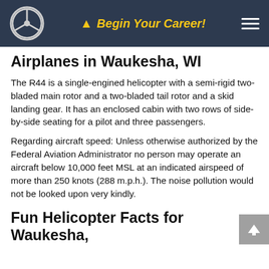Begin Your Career!
Airplanes in Waukesha, WI
The R44 is a single-engined helicopter with a semi-rigid two-bladed main rotor and a two-bladed tail rotor and a skid landing gear. It has an enclosed cabin with two rows of side-by-side seating for a pilot and three passengers.
Regarding aircraft speed: Unless otherwise authorized by the Federal Aviation Administrator no person may operate an aircraft below 10,000 feet MSL at an indicated airspeed of more than 250 knots (288 m.p.h.). The noise pollution would not be looked upon very kindly.
Fun Helicopter Facts for Waukesha, WI